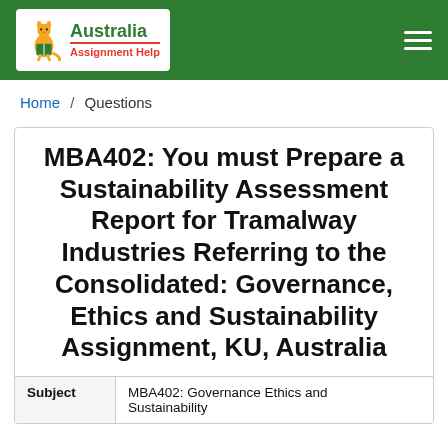[Figure (logo): Australia Assignment Help logo with kangaroo mascot on green header bar]
Home / Questions
MBA402: You must Prepare a Sustainability Assessment Report for Tramalway Industries Referring to the Consolidated: Governance, Ethics and Sustainability Assignment, KU, Australia
| Subject | Value |
| --- | --- |
| Subject | MBA402: Governance Ethics and Sustainability |